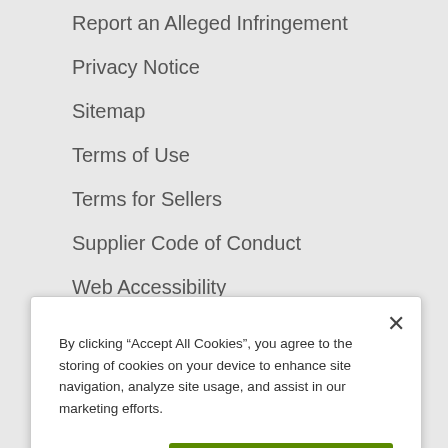Report an Alleged Infringement
Privacy Notice
Sitemap
Terms of Use
Terms for Sellers
Supplier Code of Conduct
Web Accessibility
INTERNATIONAL
By clicking “Accept All Cookies”, you agree to the storing of cookies on your device to enhance site navigation, analyze site usage, and assist in our marketing efforts.